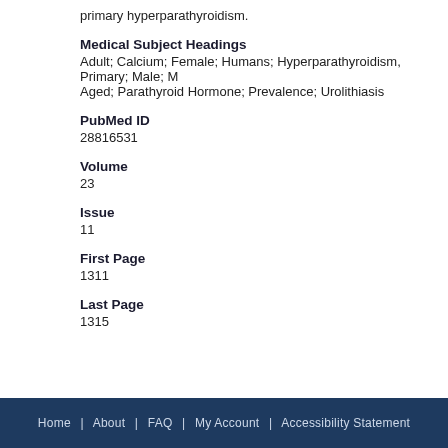primary hyperparathyroidism.
Medical Subject Headings
Adult; Calcium; Female; Humans; Hyperparathyroidism, Primary; Male; Middle Aged; Parathyroid Hormone; Prevalence; Urolithiasis
PubMed ID
28816531
Volume
23
Issue
11
First Page
1311
Last Page
1315
Home | About | FAQ | My Account | Accessibility Statement